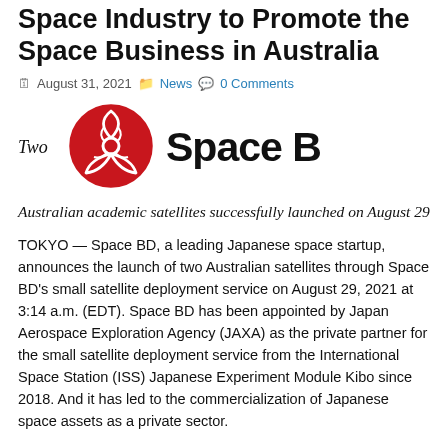Space Industry to Promote the Space Business in Australia
August 31, 2021  News  0 Comments
[Figure (logo): Space BD logo: red circular emblem with stylized wing/petal design, beside bold black text reading 'Space BD']
Australian academic satellites successfully launched on August 29
TOKYO — Space BD, a leading Japanese space startup, announces the launch of two Australian satellites through Space BD's small satellite deployment service on August 29, 2021 at 3:14 a.m. (EDT). Space BD has been appointed by Japan Aerospace Exploration Agency (JAXA) as the private partner for the small satellite deployment service from the International Space Station (ISS) Japanese Experiment Module Kibo since 2018. And it has led to the commercialization of Japanese space assets as a private sector.